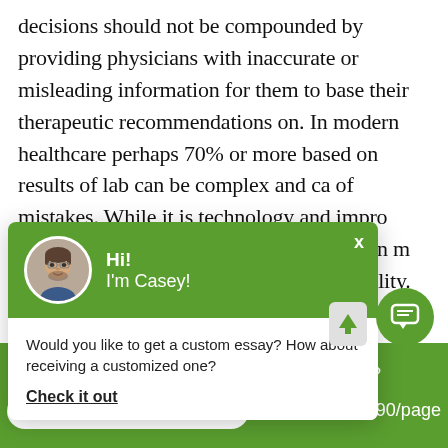decisions should not be compounded by providing physicians with inaccurate or misleading information for them to base their therapeutic recommendations on. In modern healthcare perhaps 70% or more based on results of lab can be complex and ca of mistakes. While it is technology and impro control have significan studies have shown m analytical aspect only when assessing quality.
[Figure (screenshot): Chat popup widget with green header showing avatar photo of a man with glasses named Casey, greeting 'Hi! I'm Casey!' with message 'Would you like to get a custom essay? How about receiving a customized one?' and a 'Check it out' link. Green chat icon bubble in bottom right.]
Haven't Found The Essay You Want?
GET YOUR CUSTOM ESSAY
For Only $13.90/page